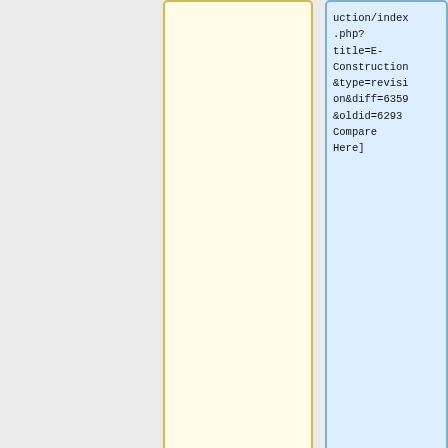uction/index.php?title=E-Construction&type=revision&diff=6359&oldid=6293 Compare Here]
|-
|-
| <center>7/11/2017</center>|| <center>1</center>|| <center>[[108.01_Subcontracting_of_Contract_
| <center>8/25/2021</center>|| <center>1</center>|| <center>[[103.02_Contract_Revisions#Requirem